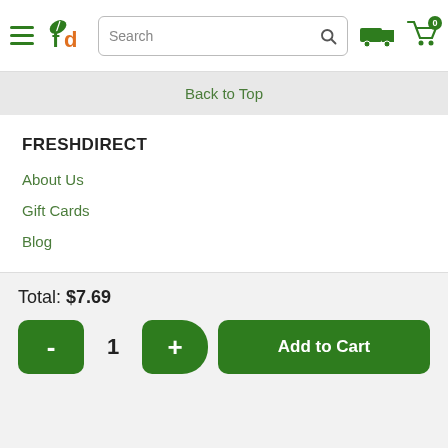FreshDirect header with hamburger menu, logo, search bar, delivery icon, and cart with 0 items
Back to Top
FRESHDIRECT
About Us
Gift Cards
Blog
Total: $7.69
- 1 + Add to Cart